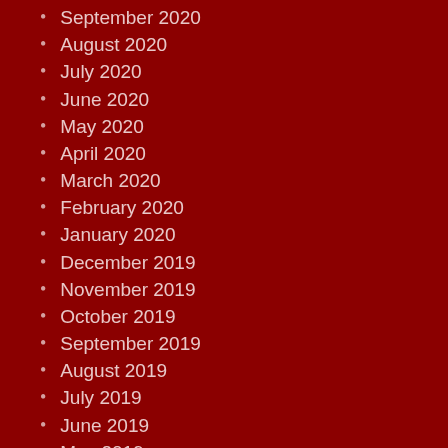September 2020
August 2020
July 2020
June 2020
May 2020
April 2020
March 2020
February 2020
January 2020
December 2019
November 2019
October 2019
September 2019
August 2019
July 2019
June 2019
May 2019
April 2019
March 2019
February 2019
January 2019
December 2018
November 2018